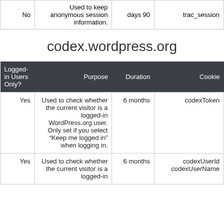| No | Used to keep anonymous session information. | days 90 | trac_session |
codex.wordpress.org
| Logged-in Users Only? | Purpose | Duration | Cookie |
| --- | --- | --- | --- |
| Yes | Used to check whether the current visitor is a logged-in WordPress.org user. Only set if you select “Keep me logged in” when logging in. | 6 months | codexToken |
| Yes | Used to check whether the current visitor is a logged-in | 6 months | codexUserId codexUserName |